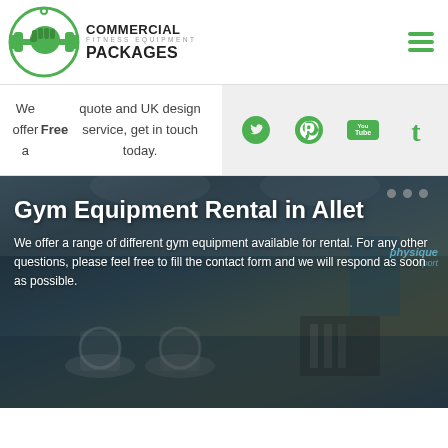[Figure (logo): Commercial Fitness Equipment Packages green dumbbell logo with fist]
We offer a Free quote and UK design service, get in touch today.
[Figure (infographic): Social media icons: Twitter, Pinterest, YouTube, Tumblr in green on grey background]
[Figure (photo): Gym interior showing stationary bikes and exercise equipment with Physique Sport branding]
Gym Equipment Rental in Allet
We offer a range of different gym equipment available for rental. For any other questions, please feel free to fill the contact form and we will respond as soon as possible.